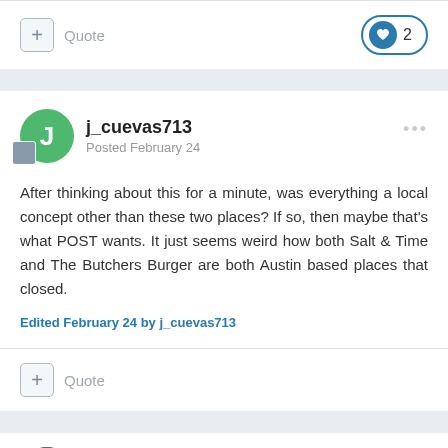+ Quote
2
j_cuevas713
Posted February 24
After thinking about this for a minute, was everything a local concept other than these two places? If so, then maybe that's what POST wants. It just seems weird how both Salt & Time and The Butchers Burger are both Austin based places that closed.
Edited February 24 by j_cuevas713
+ Quote
jmitch94